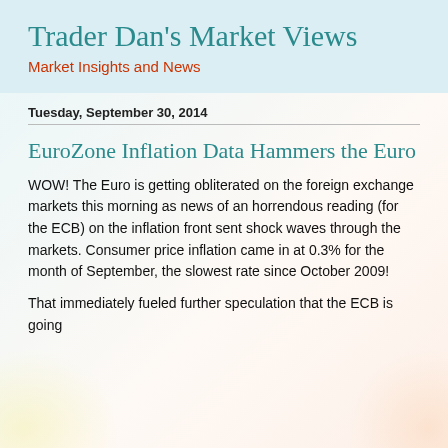Trader Dan's Market Views
Market Insights and News
Tuesday, September 30, 2014
EuroZone Inflation Data Hammers the Euro
WOW! The Euro is getting obliterated on the foreign exchange markets this morning as news of an horrendous reading (for the ECB) on the inflation front sent shock waves through the markets. Consumer price inflation came in at 0.3% for the month of September, the slowest rate since October 2009!
That immediately fueled further speculation that the ECB is going